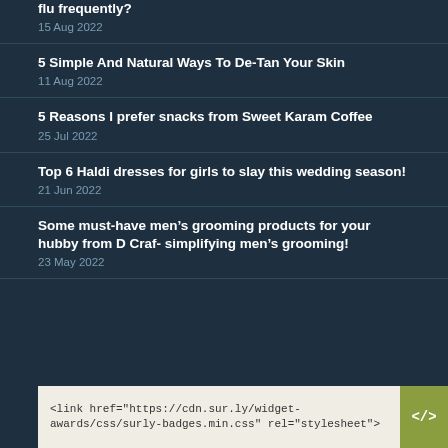flu frequently?
15 Aug 2022
5 Simple And Natural Ways To De-Tan Your Skin
11 Aug 2022
5 Reasons I prefer snacks from Sweet Karam Coffee
25 Jul 2022
Top 6 Haldi dresses for girls to slay this wedding season!
21 Jun 2022
Some must-have men's grooming products for your hubby from D Craf- simplifying men's grooming!
23 May 2022
<link href="https://cdn.sur.ly/widget-awards/css/surly-badges.min.css" rel="stylesheet">